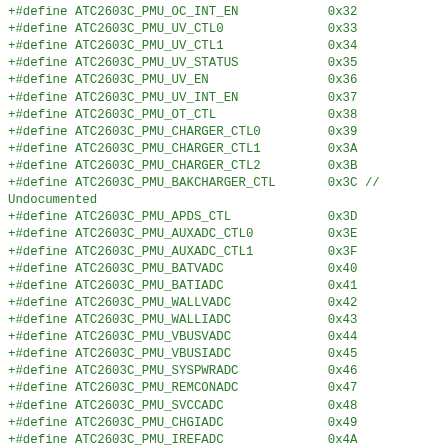+#define ATC2603C_PMU_OC_INT_EN	0x32
+#define ATC2603C_PMU_UV_CTL0	0x33
+#define ATC2603C_PMU_UV_CTL1	0x34
+#define ATC2603C_PMU_UV_STATUS	0x35
+#define ATC2603C_PMU_UV_EN	0x36
+#define ATC2603C_PMU_UV_INT_EN	0x37
+#define ATC2603C_PMU_OT_CTL	0x38
+#define ATC2603C_PMU_CHARGER_CTL0	0x39
+#define ATC2603C_PMU_CHARGER_CTL1	0x3A
+#define ATC2603C_PMU_CHARGER_CTL2	0x3B
+#define ATC2603C_PMU_BAKCHARGER_CTL	0x3C // Undocumented
+#define ATC2603C_PMU_APDS_CTL	0x3D
+#define ATC2603C_PMU_AUXADC_CTL0	0x3E
+#define ATC2603C_PMU_AUXADC_CTL1	0x3F
+#define ATC2603C_PMU_BATVADC	0x40
+#define ATC2603C_PMU_BATIADC	0x41
+#define ATC2603C_PMU_WALLVADC	0x42
+#define ATC2603C_PMU_WALLIADC	0x43
+#define ATC2603C_PMU_VBUSVADC	0x44
+#define ATC2603C_PMU_VBUSIADC	0x45
+#define ATC2603C_PMU_SYSPWRADC	0x46
+#define ATC2603C_PMU_REMCONADC	0x47
+#define ATC2603C_PMU_SVCCADC	0x48
+#define ATC2603C_PMU_CHGIADC	0x49
+#define ATC2603C_PMU_IREFADC	0x4A
+#define ATC2603C_PMU_BAKBATADC	0x4B
+#define ATC2603C_PMU_ICTEMPADC	0x4C
+#define ATC2603C_PMU_AUXADC0	0x4D
+#define ATC2603C_PMU_AUXADC1	0x4E